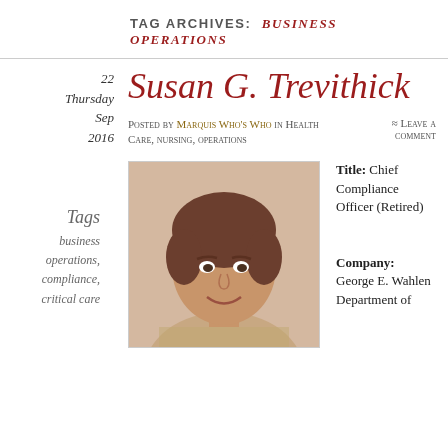TAG ARCHIVES: BUSINESS OPERATIONS
Susan G. Trevithick
Posted by Marquis Who's Who in Health Care, nursing, operations ≈ Leave a comment
Tags
business operations,
compliance,
critical care
22
Thursday
Sep
2016
[Figure (photo): Headshot photo of Susan G. Trevithick]
Title: Chief Compliance Officer (Retired)

Company: George E. Wahlen Department of